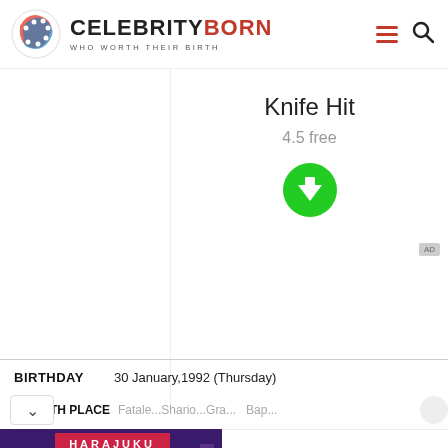CELEBRITY BORN — WHO WORTH THEIR BIRTH
Knife Hit
4.5 free
[Figure (other): Green circular download button with white downward arrow]
AD
| Field | Value |
| --- | --- |
| BIRTHDAY | 30 January,1992 (Thursday) |
TH PLACE   Fatale...Shario...Gra...   Bap...
[Figure (photo): Advertisement banner showing Harajuku themed image with two people in costume on left, and Hot Topic logo on right]